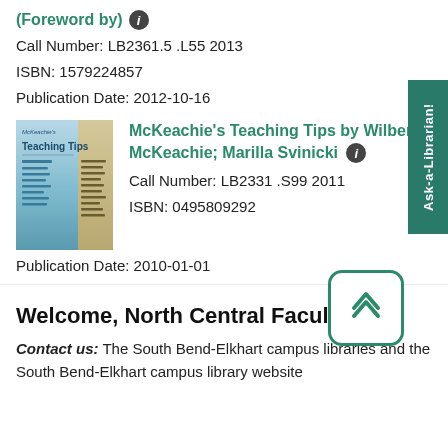(Foreword by)
Call Number: LB2361.5 .L55 2013
ISBN: 1579224857
Publication Date: 2012-10-16
[Figure (illustration): Book cover of McKeachie's Teaching Tips]
McKeachie's Teaching Tips by Wilbert J. McKeachie; Marilla Svinicki
Call Number: LB2331 .S99 2011
ISBN: 0495809292
Publication Date: 2010-01-01
Welcome, North Central Faculty
Contact us: The South Bend-Elkhart campus libraries and the South Bend-Elkhart campus library website